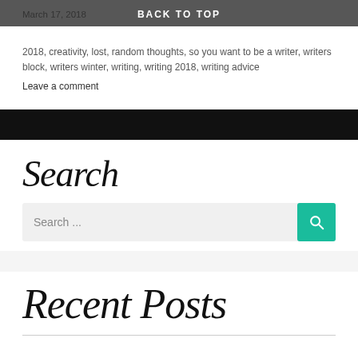March 17, 2018
BACK TO TOP
2018, creativity, lost, random thoughts, so you want to be a writer, writers block, writers winter, writing, writing 2018, writing advice
Leave a comment
Search
Search ...
Recent Posts